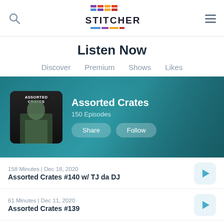[Figure (screenshot): Stitcher app header with search icon, Stitcher logo, and hamburger menu]
Listen Now
Discover  Premium  Shows  Likes
[Figure (screenshot): Hero banner showing Assorted Crates podcast artwork with title 'Assorted Crates', '150 Episodes', and Share/Follow buttons on teal background]
158 Minutes | Dec 18, 2020
Assorted Crates #140 w/ TJ da DJ
61 Minutes | Dec 11, 2020
Assorted Crates #139
47 Minutes | Dec 4, 2020
Assorted Crates #138
75 Minutes | Nov 27, 2020